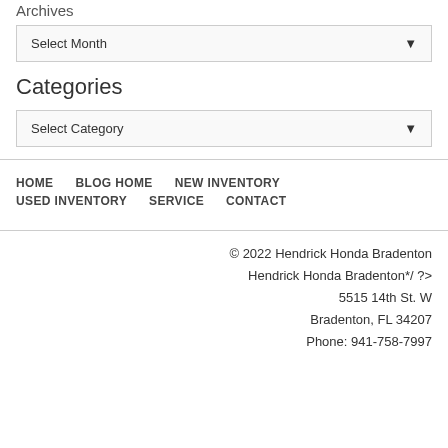Archives
Select Month
Categories
Select Category
HOME    BLOG HOME    NEW INVENTORY    USED INVENTORY    SERVICE    CONTACT
© 2022 Hendrick Honda Bradenton
Hendrick Honda Bradenton*/ ?>
5515 14th St. W
Bradenton, FL 34207
Phone: 941-758-7997